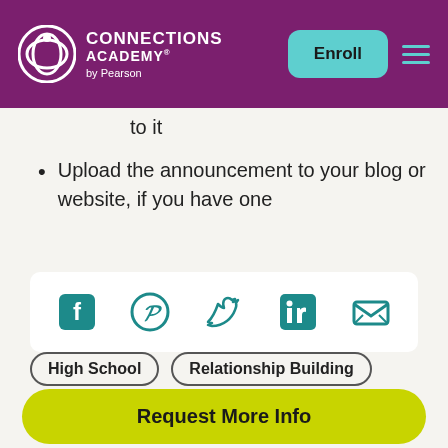Connections Academy by Pearson — Enroll
to it
Upload the announcement to your blog or website, if you have one
[Figure (infographic): Social sharing icons: Facebook, Pinterest, Twitter, LinkedIn, Email]
High School   Relationship Building
Request More Info